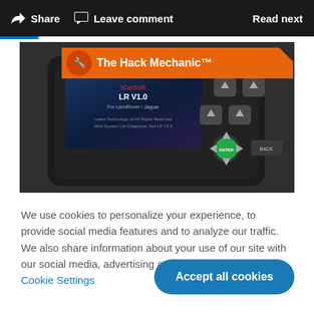Share  Leave comment  Read next
[Figure (photo): Close-up photo of a black iCarSoft LR V1.0 diagnostic scan tool for Land Rover/Jaguar, showing the screen and navigation buttons including a green ENTER button. Orange banner overlay reads 'The Hack Mechanic™']
We use cookies to personalize your experience, to provide social media features and to analyze our traffic. We also share information about your use of our site with our social media, advertising and analytics partners. Cookie Settings
Accept all cookies